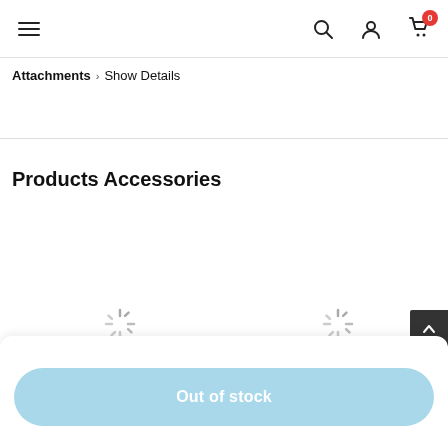Navigation header with hamburger menu, search, user, and cart icons (badge: 0)
Attachments > Show Details
Products Accessories
[Figure (other): Loading spinner icon (left)]
[Figure (other): Loading spinner icon (right)]
Out of stock